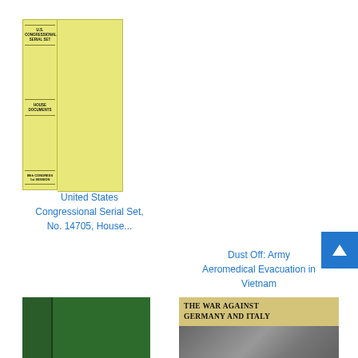[Figure (photo): Yellow hardcover book - U.S. Congressional Serial Set, showing spine with text 'U.S. CONGRESSIONAL SERIAL SET', 'HOUSE DOCUMENTS', '89th CONGRESS 1st SESSION']
United States Congressional Serial Set, No. 14705, House...
Dust Off: Army Aeromedical Evacuation in Vietnam
[Figure (photo): Green hardcover book - partially visible at bottom left]
[Figure (photo): The War Against Germany and Italy book cover - partially visible at bottom right]